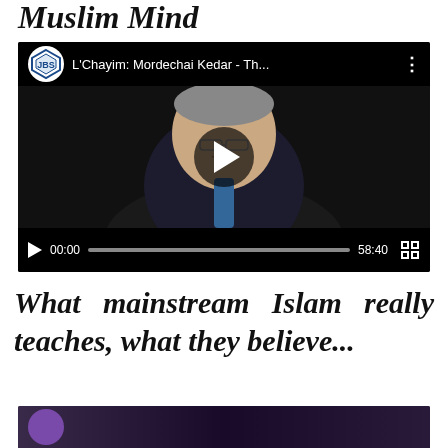Muslim Mind
[Figure (screenshot): YouTube/JBS video player showing L'Chayim: Mordechai Kedar - Th... with a man in a suit smiling, play button overlay, controls bar showing 00:00 and 58:40]
What mainstream Islam really teaches, what they believe...
[Figure (screenshot): Partial bottom image showing dark purple/black background with a circular avatar element]